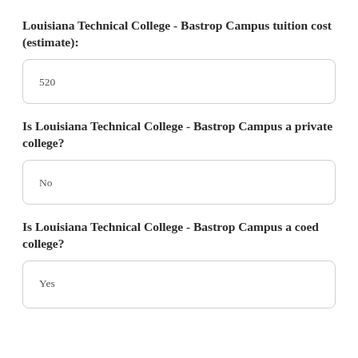Louisiana Technical College - Bastrop Campus tuition cost (estimate):
520
Is Louisiana Technical College - Bastrop Campus a private college?
No
Is Louisiana Technical College - Bastrop Campus a coed college?
Yes